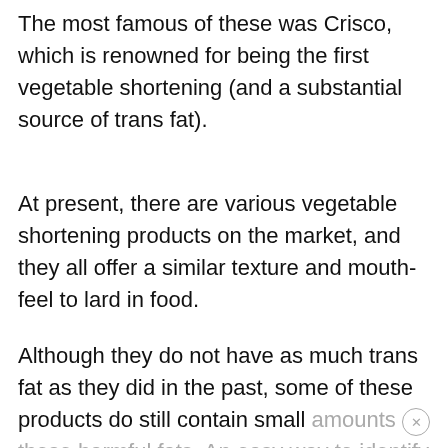The most famous of these was Crisco, which is renowned for being the first vegetable shortening (and a substantial source of trans fat).
At present, there are various vegetable shortening products on the market, and they all offer a similar texture and mouth-feel to lard in food.
Although they do not have as much trans fat as they did in the past, some of these products do still contain small amounts of these harmful fats. An easy way to identify the presence of trans fat